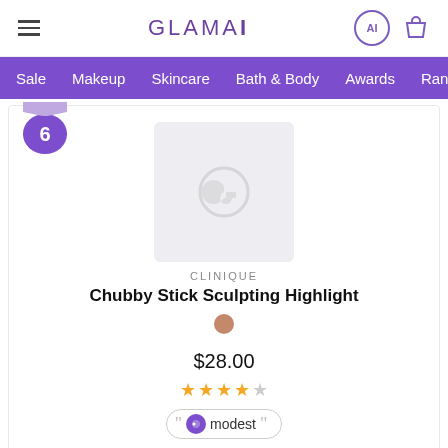GLAMAI — Sale  Makeup  Skincare  Bath & Body  Awards  Ranki…
[Figure (screenshot): Product ranking card for Clinique Chubby Stick Sculpting Highlight, ranked #6, priced at $28.00, rated ~4 stars, tagged as 'modest', ranked #1 / 163 Products, with a Shop Now button.]
CLINIQUE
Chubby Stick Sculpting Highlight
$28.00
modest
Ranked #1 / 163 Products
Shop Now